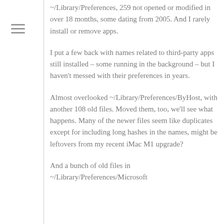~/Library/Preferences, 259 not opened or modified in over 18 months, some dating from 2005. And I rarely install or remove apps.
I put a few back with names related to third-party apps still installed – some running in the background – but I haven't messed with their preferences in years.
Almost overlooked ~/Library/Preferences/ByHost, with another 108 old files. Moved them, too, we'll see what happens. Many of the newer files seem like duplicates except for including long hashes in the names, might be leftovers from my recent iMac M1 upgrade?
And a bunch of old files in ~/Library/Preferences/Microsoft